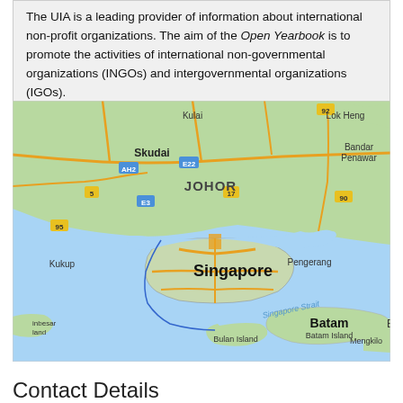The UIA is a leading provider of information about international non-profit organizations. The aim of the Open Yearbook is to promote the activities of international non-governmental organizations (INGOs) and intergovernmental organizations (IGOs).
[Figure (map): Google Maps view showing Singapore and surrounding region including Johor (Malaysia) to the north, Batam Island to the south, and the Singapore Strait. Labels include: Kulai, Lok Heng, AH2, E22, Skudai, Bandar Penawar, 5, 17, JOHOR, 90, E3, Singapore, Pengerang, 95, Kukup, Singapore Strait, Batam, Batam Island, Binbesar Island, Bulan Island, Mengkilo.]
Contact Details